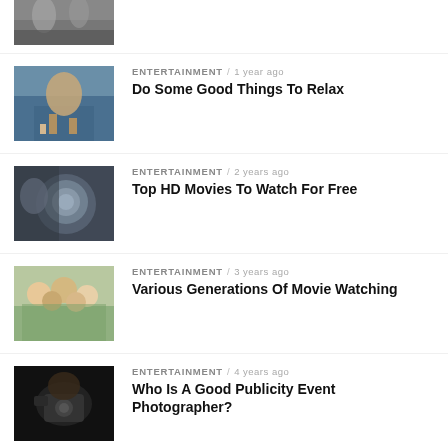[Figure (photo): Partial thumbnail of people walking, cropped at top]
[Figure (photo): Hands reaching/touching over water]
ENTERTAINMENT / 1 year ago
Do Some Good Things To Relax
[Figure (photo): Robot or sci-fi character close-up]
ENTERTAINMENT / 2 years ago
Top HD Movies To Watch For Free
[Figure (photo): Group of people/family taking a selfie, smiling]
ENTERTAINMENT / 3 years ago
Various Generations Of Movie Watching
[Figure (photo): Person holding a camera in a dark setting]
ENTERTAINMENT / 4 years ago
Who Is A Good Publicity Event Photographer?
[Figure (photo): Partial thumbnail, bottom of page]
ENTERTAINMENT / 4 years ago